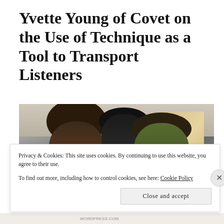Yvette Young of Covet on the Use of Technique as a Tool to Transport Listeners
[Figure (photo): A band photo of three people (two men and a woman in the center) standing in an industrial/warehouse setting with pipes and warm window light in the background.]
Privacy & Cookies: This site uses cookies. By continuing to use this website, you agree to their use. To find out more, including how to control cookies, see here: Cookie Policy
Close and accept